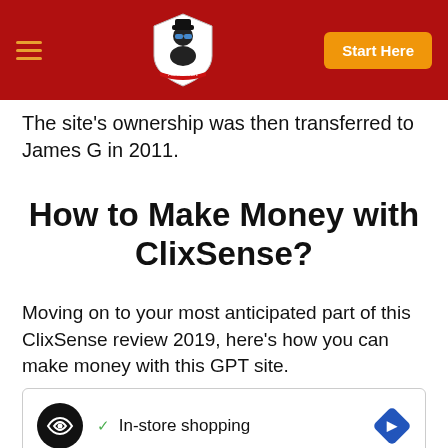Navigation bar with hamburger menu, logo, and Start Here button
The site's ownership was then transferred to James G in 2011.
How to Make Money with ClixSense?
Moving on to your most anticipated part of this ClixSense review 2019, here's how you can make money with this GPT site.
[Figure (other): Advertisement banner showing a circular logo icon, a checkmark with 'In-store shopping' text, a blue diamond navigation icon, and ad control buttons (play/close)]